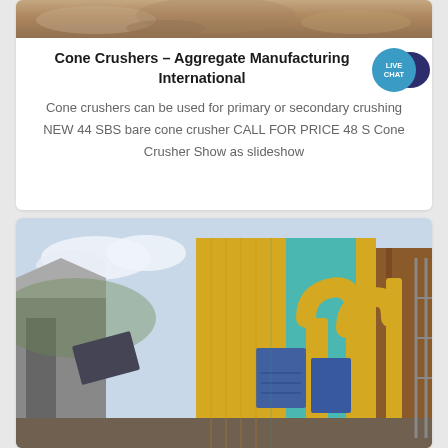[Figure (photo): Top portion of a cone crusher machine — close-up of rocky/sandy material]
Cone Crushers – Aggregate Manufacturing International
Cone crushers can be used for primary or secondary crushing NEW 44 SBS bare cone crusher CALL FOR PRICE 48 S Cone Crusher Show as slideshow
[Figure (photo): Industrial aggregate manufacturing facility with yellow pipes, blue dust collectors, yellow and teal corrugated metal building exterior]